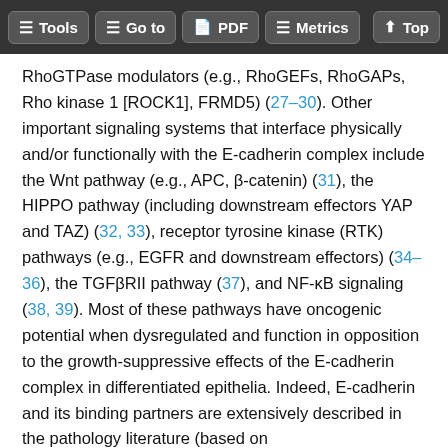Tools | Go to | PDF | Metrics | Top
RhoGTPase modulators (e.g., RhoGEFs, RhoGAPs, Rho kinase 1 [ROCK1], FRMD5) (27–30). Other important signaling systems that interface physically and/or functionally with the E-cadherin complex include the Wnt pathway (e.g., APC, β-catenin) (31), the HIPPO pathway (including downstream effectors YAP and TAZ) (32, 33), receptor tyrosine kinase (RTK) pathways (e.g., EGFR and downstream effectors) (34–36), the TGFβRII pathway (37), and NF-κB signaling (38, 39). Most of these pathways have oncogenic potential when dysregulated and function in opposition to the growth-suppressive effects of the E-cadherin complex in differentiated epithelia. Indeed, E-cadherin and its binding partners are extensively described in the pathology literature (based on immunohistochemical [IHC] staining) as